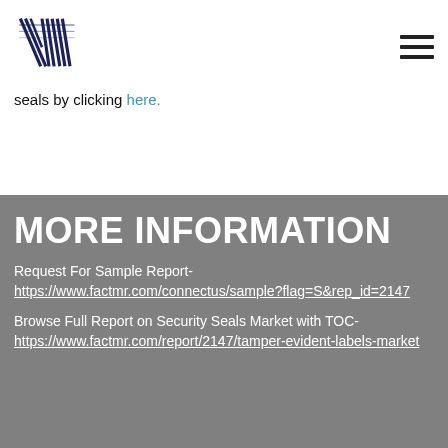[Figure (logo): JW logo with diagonal lines in dark navy blue]
seals by clicking here.
MORE INFORMATION
Request For Sample Report- https://www.factmr.com/connectus/sample?flag=S&rep_id=2147
Browse Full Report on Security Seals Market with TOC- https://www.factmr.com/report/2147/tamper-evident-labels-market